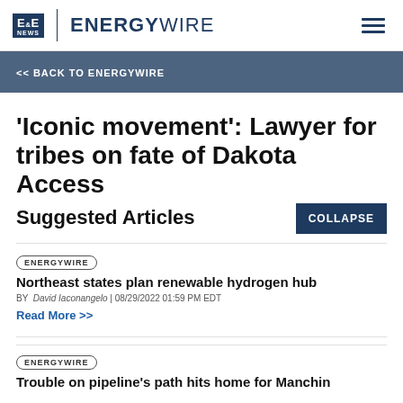E&E NEWS | ENERGYWIRE
<< BACK TO ENERGYWIRE
'Iconic movement': Lawyer for tribes on fate of Dakota Access
Suggested Articles
ENERGYWIRE
Northeast states plan renewable hydrogen hub
BY David Iaconangelo | 08/29/2022 01:59 PM EDT
Read More >>
ENERGYWIRE
Trouble on pipeline's path hits home for Manchin